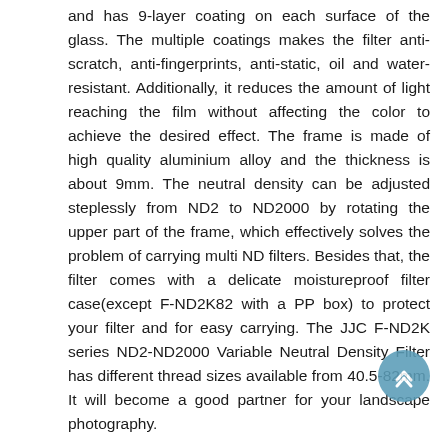and has 9-layer coating on each surface of the glass. The multiple coatings makes the filter anti-scratch, anti-fingerprints, anti-static, oil and water-resistant. Additionally, it reduces the amount of light reaching the film without affecting the color to achieve the desired effect. The frame is made of high quality aluminium alloy and the thickness is about 9mm. The neutral density can be adjusted steplessly from ND2 to ND2000 by rotating the upper part of the frame, which effectively solves the problem of carrying multi ND filters. Besides that, the filter comes with a delicate moistureproof filter case(except F-ND2K82 with a PP box) to protect your filter and for easy carrying. The JJC F-ND2K series ND2-ND2000 Variable Neutral Density Filter has different thread sizes available from 40.5-82mm. It will become a good partner for your landscape photography.